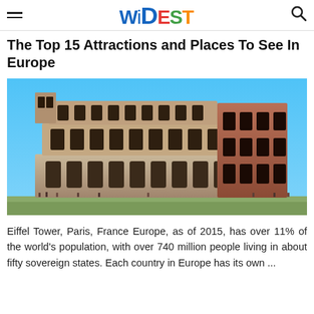WIDEST
The Top 15 Attractions and Places To See In Europe
[Figure (photo): Photograph of the Colosseum in Rome, Italy under a clear blue sky, with tourists visible at the base.]
Eiffel Tower, Paris, France Europe, as of 2015, has over 11% of the world's population, with over 740 million people living in about fifty sovereign states. Each country in Europe has its own ...